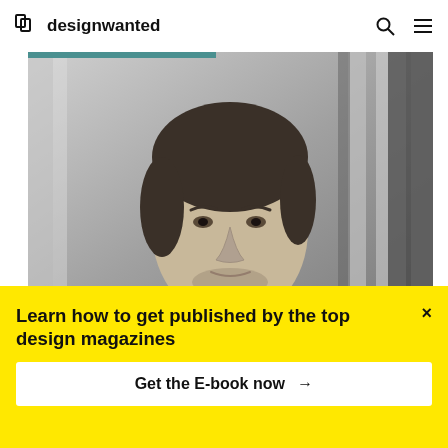designwanted
[Figure (photo): Black and white portrait photograph of Marc Newson, a middle-aged man with short dark hair and stubble, wearing a white t-shirt, photographed outdoors with blurred vertical architectural elements in background]
© Marc Newson
Learn how to get published by the top design magazines
Get the E-book now →